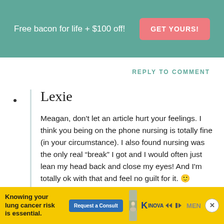[Figure (infographic): Teal promotional banner: 'Free bacon for life + $100 off!' with a pink 'GET YOURS!' button]
REPLY TO COMMENT
Lexie
Meagan, don't let an article hurt your feelings. I think you being on the phone nursing is totally fine (in your circumstance). I also found nursing was the only real “break” I got and I would often just lean my head back and close my eyes! And I'm totally ok with that and feel no guilt for it. 🙂
[Figure (infographic): Yellow advertisement banner: 'Knowing your lung cancer risk is essential.' with a blue 'Request a Consult' button, photo of elderly man, INOVA logo, and close/dismiss controls]